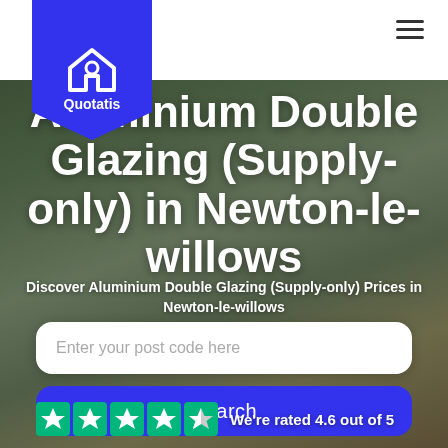[Figure (screenshot): Quotatis website screenshot showing Aluminium Double Glazing (Supply-only) in Newton-le-willows landing page with search bar, search button, and Trustpilot rating]
Quotatis
Aluminium Double Glazing (Supply-only) in Newton-le-willows
Discover Aluminium Double Glazing (Supply-only) Prices in Newton-le-willows
Enter your post code here
Search
We're rated 4.6 out of 5